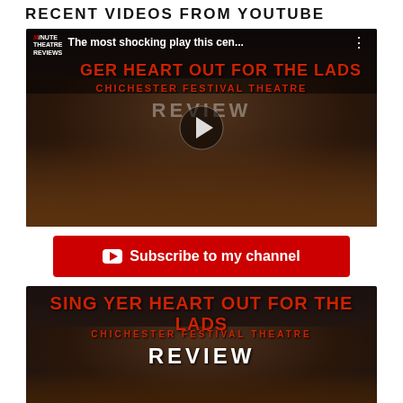RECENT VIDEOS FROM YOUTUBE
[Figure (screenshot): YouTube video thumbnail for 'Sing Yer Heart Out For The Lads – Chichester Festival Theatre Review' showing the title text overlaid on a theatre audience photo, with a play button in the center. Minute Theatre Reviews logo in top-left, overlay text reads 'The most shocking play this cen...']
Subscribe to my channel
[Figure (screenshot): YouTube video thumbnail for 'Sing Yer Heart Out For The Lads – Chichester Festival Theatre Review' showing large red title text 'SING YER HEART OUT FOR THE LADS', subtitle 'CHICHESTER FESTIVAL THEATRE', and 'REVIEW' in white, over a dark theatre background with crowd visible at bottom.]